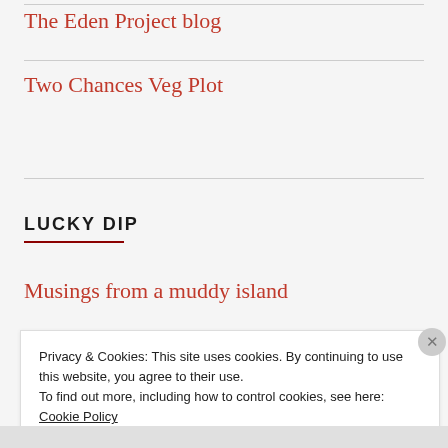The Eden Project blog
Two Chances Veg Plot
LUCKY DIP
Musings from a muddy island
Privacy & Cookies: This site uses cookies. By continuing to use this website, you agree to their use.
To find out more, including how to control cookies, see here: Cookie Policy
Close and accept